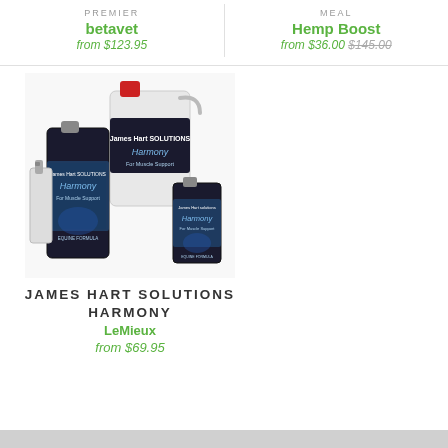PREMIER
betavet
from $123.95
MEAL
Hemp Boost
from $36.00 $145.00
[Figure (photo): Three bottles/containers of James Hart Solutions Harmony horse supplement product in various sizes, with dark blue labels showing a horse graphic.]
JAMES HART SOLUTIONS HARMONY
LeMieux
from $69.95